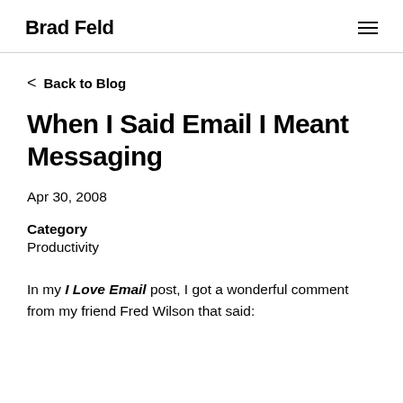Brad Feld
< Back to Blog
When I Said Email I Meant Messaging
Apr 30, 2008
Category
Productivity
In my I Love Email post, I got a wonderful comment from my friend Fred Wilson that said: